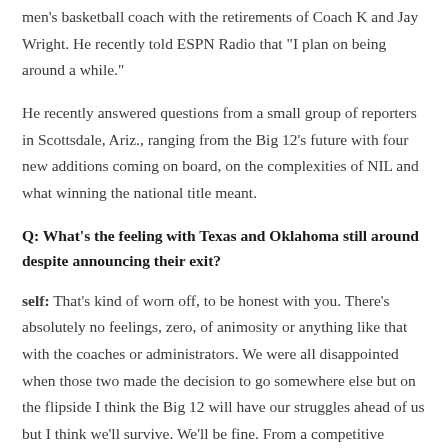men's basketball coach with the retirements of Coach K and Jay Wright. He recently told ESPN Radio that "I plan on being around a while."
He recently answered questions from a small group of reporters in Scottsdale, Ariz., ranging from the Big 12's future with four new additions coming on board, on the complexities of NIL and what winning the national title meant.
Q: What's the feeling with Texas and Oklahoma still around despite announcing their exit?
self: That's kind of worn off, to be honest with you. There's absolutely no feelings, zero, of animosity or anything like that with the coaches or administrators. We were all disappointed when those two made the decision to go somewhere else but on the flipside I think the Big 12 will have our struggles ahead of us but I think we'll survive. We'll be fine. From a competitive standpoint, I think the...